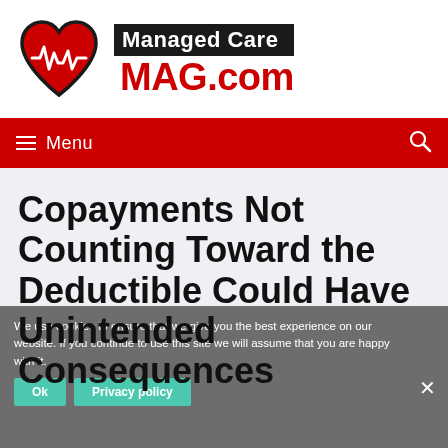[Figure (logo): Managed Care MAG.com logo with heart/EKG icon on the left and brand name on the right]
Menu
Copayments Not Counting Toward the Deductible Could Have Unintended Consequences
We use cookies to ensure that we give you the best experience on our website. If you continue to use this site we will assume that you are happy with it.